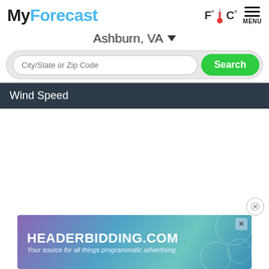MyForecast
Ashburn, VA
City/State or Zip Code  Search
Wind Speed
[Figure (screenshot): Empty white content area]
[Figure (other): HEADERBIDDING.COM advertisement banner - Your source for all things programmatic advertising.]